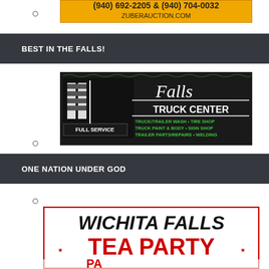[Figure (other): Zuber Auction advertisement banner showing phone numbers (940) 692-2205 & (940) 704-0032 and website ZUBERAUCTION.COM with orange/yellow background]
○
BEST IN THE FALLS!
[Figure (other): Falls Truck Center advertisement with dark background showing truck graphic and text: TRUCK/TRAILER WASH • TIRE SHOP, TRUCK PAINT & BODY • SIGN SHOP, TRAILER PARTS/REPAIRS • WELDING, FULL SERVICE]
○
ONE NATION UNDER GOD
○
[Figure (other): Wichita Falls Tea Party advertisement with black and red text on white background with red border]